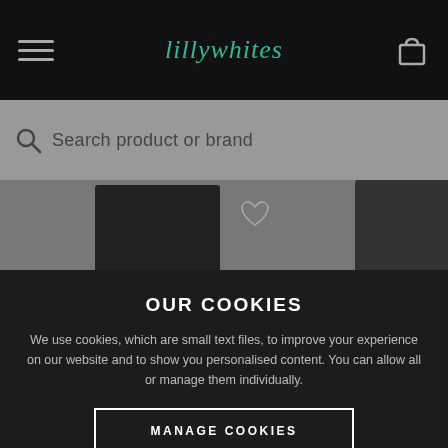[Figure (screenshot): Lillywhites website header with hamburger menu icon on left, teal italic logo in center, and shopping bag icon on right, on black background]
[Figure (screenshot): Search bar with magnifying glass icon and placeholder text 'Search product or brand' on grey background]
[Figure (screenshot): Partial product images visible behind cookie overlay — black clothing items with heart/wishlist icons]
OUR COOKIES
We use cookies, which are small text files, to improve your experience on our website and to show you personalised content. You can allow all or manage them individually.
MANAGE COOKIES
ALLOW ALL